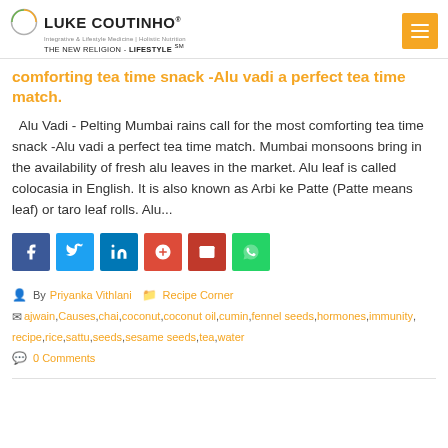LUKE COUTINHO® | Integrative & Lifestyle Medicine | Holistic Nutrition | THE NEW RELIGION - LIFESTYLE℠
comforting tea time snack -Alu vadi a perfect tea time match.
Alu Vadi - Pelting Mumbai rains call for the most comforting tea time snack -Alu vadi a perfect tea time match. Mumbai monsoons bring in the availability of fresh alu leaves in the market. Alu leaf is called colocasia in English. It is also known as Arbi ke Patte (Patte means leaf) or taro leaf rolls. Alu...
[Figure (infographic): Social media share buttons: Facebook (blue), Twitter (light blue), LinkedIn (dark blue), Google+ (red), Email (dark red), WhatsApp (green)]
By Priyanka Vithlani  Recipe Corner
ajwain, Causes, chai, coconut, coconut oil, cumin, fennel seeds, hormones, immunity, recipe, rice, sattu, seeds, sesame seeds, tea, water
0 Comments